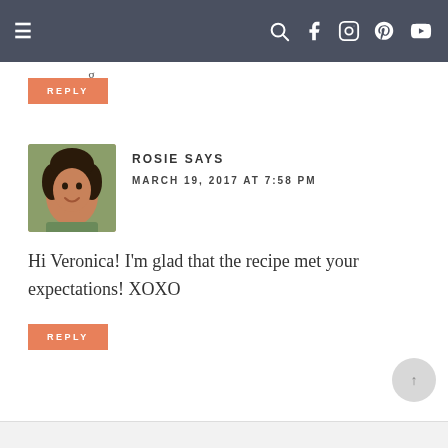Navigation bar with menu, search, Facebook, Instagram, Pinterest, YouTube icons
[Figure (other): Partial text ending in 'g' visible at top of page content area]
REPLY
[Figure (photo): Avatar photo of Rosie - woman with curly dark hair]
ROSIE SAYS
MARCH 19, 2017 AT 7:58 PM
Hi Veronica! I'm glad that the recipe met your expectations! XOXO
REPLY